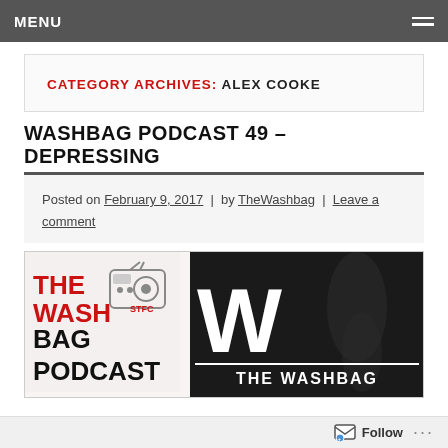MENU
CATEGORY ARCHIVES: ALEX COOKE
WASHBAG PODCAST 49 – DEPRESSING
Posted on February 9, 2017 | by TheWashbag | Leave a comment
[Figure (illustration): The Washbag Podcast logo on left (red and black text with radio graphic, STFC badge), and The Washbag branding on right with large W and player silhouette on dark background.]
Follow ...